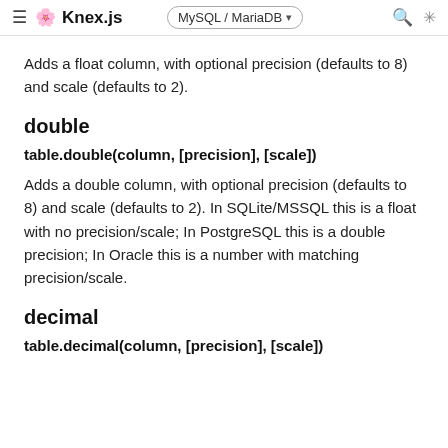≡ 🌸 Knex.js  MySQL / MariaDB  🔍 ☼
Adds a float column, with optional precision (defaults to 8) and scale (defaults to 2).
double
table.double(column, [precision], [scale])
Adds a double column, with optional precision (defaults to 8) and scale (defaults to 2). In SQLite/MSSQL this is a float with no precision/scale; In PostgreSQL this is a double precision; In Oracle this is a number with matching precision/scale.
decimal
table.decimal(column, [precision], [scale])